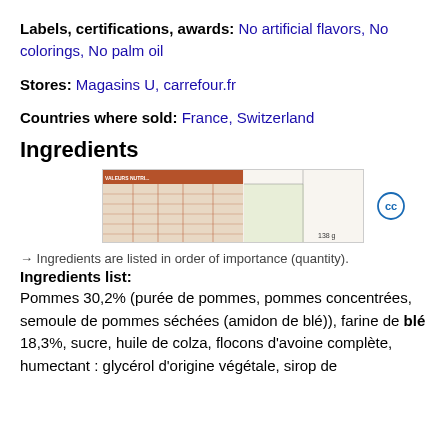Labels, certifications, awards: No artificial flavors, No colorings, No palm oil
Stores: Magasins U, carrefour.fr
Countries where sold: France, Switzerland
Ingredients
[Figure (photo): Nutrition label image of a product showing nutritional information table with values per 100g and per serving, and ingredients list. Product weight: 138g.]
→ Ingredients are listed in order of importance (quantity).
Ingredients list:
Pommes 30,2% (purée de pommes, pommes concentrées, semoule de pommes séchées (amidon de blé)), farine de blé 18,3%, sucre, huile de colza, flocons d'avoine complète, humectant : glycérol d'origine végétale, sirop de